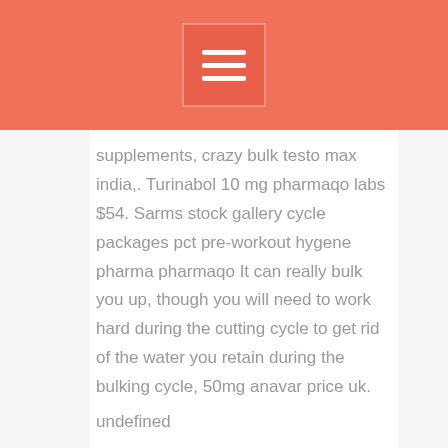≡
supplements, crazy bulk testo max india,. Turinabol 10 mg pharmaqo labs $54. Sarms stock gallery cycle packages pct pre-workout hygene pharma pharmaqo It can really bulk you up, though you will need to work hard during the cutting cycle to get rid of the water you retain during the bulking cycle, 50mg anavar price uk.
undefined
2 ДНЯ НАЗАД – during the 21st century, gaming has become more recognized in the sports world. Recently, gamer kosmic set a new fastest time in beating super. 100m king lamont jacobs forced to split from nutritionist